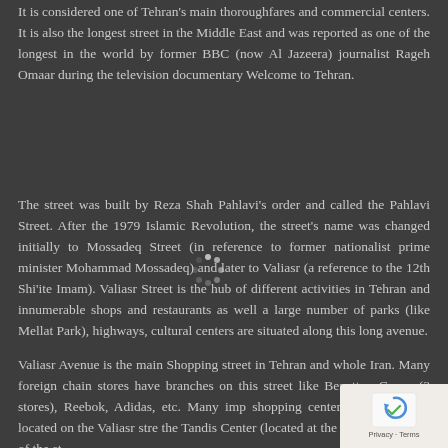It is considered one of Tehran's main thoroughfares and commercial centers. It is also the longest street in the Middle East and was reported as one of the longest in the world by former BBC (now Al Jazeera) journalist Rageh Omaar during the television documentary Welcome to Tehran.
The street was built by Reza Shah Pahlavi's order and called the Pahlavi Street. After the 1979 Islamic Revolution, the street's name was changed initially to Mossadeq Street (in reference to former nationalist prime minister Mohammad Mossadeq) and later to Valiasr (a reference to the 12th Shi'ite Imam). Valiasr Street is the hub of different activities in Tehran and innumerable shops and restaurants as well a large number of parks (like Mellat Park), highways, cultural centers are situated along this long avenue.
Valiasr Avenue is the main Shopping street in Tehran and whole Iran. Many foreign chain stores have branches on this street like Benetton Group (3 stores), Reebok, Adidas, etc. Many imp shopping centers of Tehran are located on the Valiasr stre the Tandis Center (located at the most north point of the st